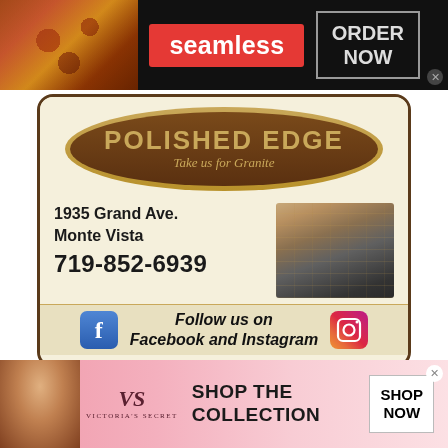[Figure (screenshot): Seamless food delivery banner ad with pizza photo, red Seamless badge, and ORDER NOW button on dark background]
[Figure (illustration): Polished Edge granite company advertisement. Oval logo with 'POLISHED EDGE / Take us for Granite'. Address: 1935 Grand Ave., Monte Vista. Phone: 719-852-6939. Follow us on Facebook and Instagram.]
ALAMOSA — Kale Mortensen was named the new executive director of Alamosa's Convention and
[Figure (screenshot): Victoria's Secret banner ad with model photo, VS logo, SHOP THE COLLECTION text, and SHOP NOW button on pink gradient background]